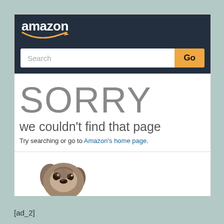[Figure (screenshot): Amazon website header with logo, search bar and 404 error page showing 'SORRY we couldn't find that page' with a dog peeking up from the bottom]
[ad_2]